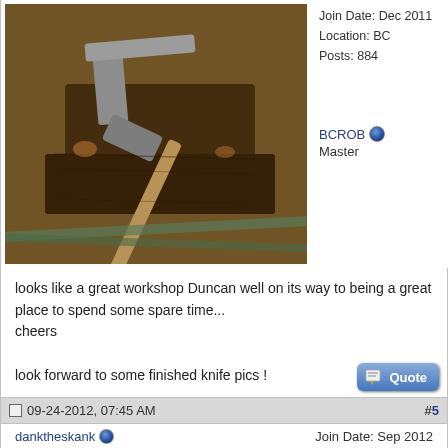[Figure (photo): Photograph of metalworking tools including a hammer and anvil or vise in a workshop setting, brown tones]
Join Date: Dec 2011
Location: BC
Posts: 884
BCROB
Master
looks like a great workshop Duncan well on its way to being a great place to spend some spare time...
cheers

look forward to some finished knife pics !
09-24-2012, 07:45 AM
#5
danktheskank
Join Date: Sep 2012